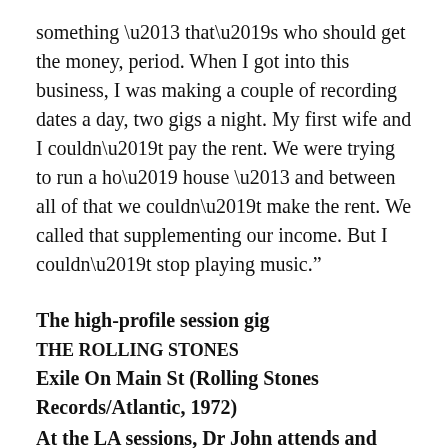something – that’s who should get the money, period. When I got into this business, I was making a couple of recording dates a day, two gigs a night. My first wife and I couldn’t pay the rent. We were trying to run a ho’ house – and between all of that we couldn’t make the rent. We called that supplementing our income. But I couldn’t stop playing music.”
The high-profile session gig
THE ROLLING STONES
Exile On Main St (Rolling Stones Records/Atlantic, 1972)
At the LA sessions, Dr John attends and supplies some additional keyboards. He also brings in backing singers Tami Lynn, Shirley Goodman and